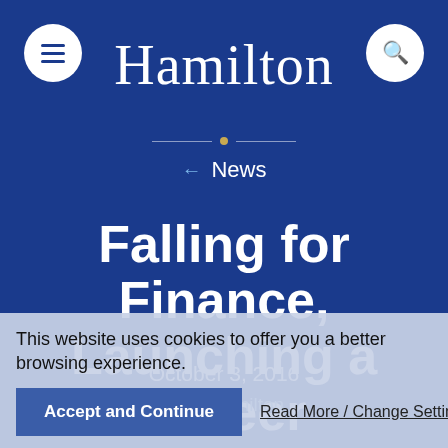Hamilton
← News
Falling for Finance, Launching a Career
October 3, 2016
After Hamilton
This website uses cookies to offer you a better browsing experience.
Accept and Continue
Read More / Change Settings